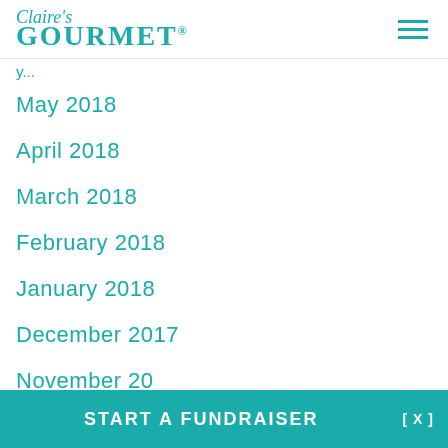Claire's GOURMET
May 2018
April 2018
March 2018
February 2018
January 2018
December 2017
November 20...
START A FUNDRAISER